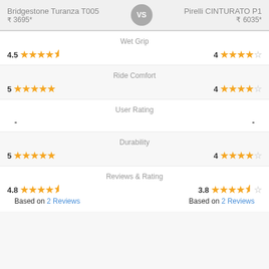Bridgestone Turanza T005 ₹ 3695* vs Pirelli CINTURATO P1 ₹ 6035*
Wet Grip
4.5 ★★★★½ (left) | 4 ★★★★☆ (right)
Ride Comfort
5 ★★★★★ (left) | 4 ★★★★☆ (right)
User Rating
- (left) | - (right)
Durability
5 ★★★★★ (left) | 4 ★★★★☆ (right)
Reviews & Rating
4.8 ★★★★½ Based on 2 Reviews | 3.8 ★★★★½☆ Based on 2 Reviews